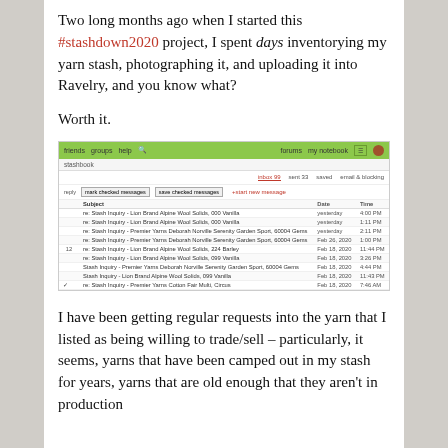Two long months ago when I started this #stashdown2020 project, I spent days inventorying my yarn stash, photographing it, and uploading it into Ravelry, and you know what?
Worth it.
[Figure (screenshot): Screenshot of Ravelry inbox showing multiple stash inquiry messages about Lion Brand Alpine Wool Solids, Premier Yarns Deborah Norville Serenity Garden Sport, and other yarns, with dates ranging from Feb 18, 2020 to yesterday.]
I have been getting regular requests into the yarn that I listed as being willing to trade/sell – particularly, it seems, yarns that have been camped out in my stash for years, yarns that are old enough that they aren't in production